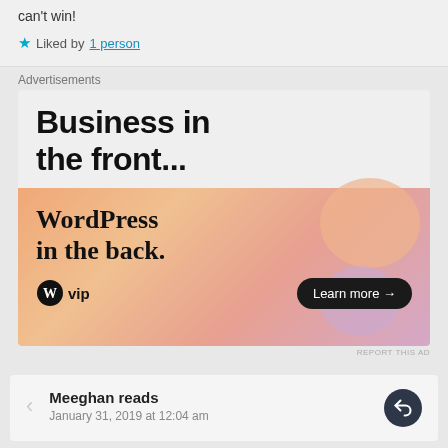can't win!
★ Liked by 1 person
Advertisements
[Figure (illustration): WordPress VIP advertisement. Top section on light gray background reads 'Business in the front...' in large bold black text. Bottom section has orange/pink gradient background with text 'WordPress in the back.' and WordPress VIP logo plus 'Learn more →' button.]
REPORT THIS AD
Meeghan reads
January 31, 2019 at 12:04 am